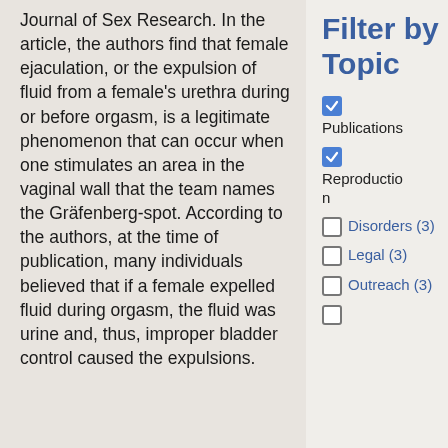Journal of Sex Research. In the article, the authors find that female ejaculation, or the expulsion of fluid from a female's urethra during or before orgasm, is a legitimate phenomenon that can occur when one stimulates an area in the vaginal wall that the team names the Gräfenberg-spot. According to the authors, at the time of publication, many individuals believed that if a female expelled fluid during orgasm, the fluid was urine and, thus, improper bladder control caused the expulsions.
Filter by Topic
Publications (checked)
Reproduction (checked)
Disorders (3)
Legal (3)
Outreach (3)